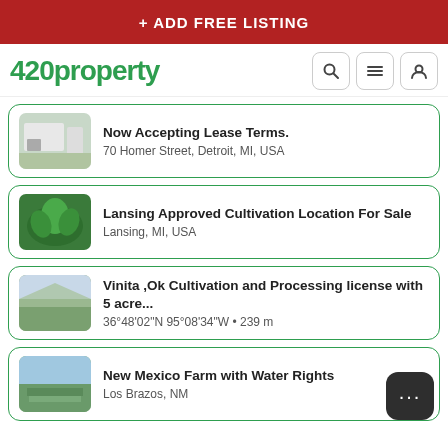+ ADD FREE LISTING
420property
Now Accepting Lease Terms.
70 Homer Street, Detroit, MI, USA
Lansing Approved Cultivation Location For Sale
Lansing, MI, USA
Vinita ,Ok Cultivation and Processing license with 5 acre...
36°48'02"N 95°08'34"W • 239 m
New Mexico Farm with Water Rights
Los Brazos, NM
FEATURED LISTINGS
248 Acres, 2 wells, established indoor grow, fully fenced...